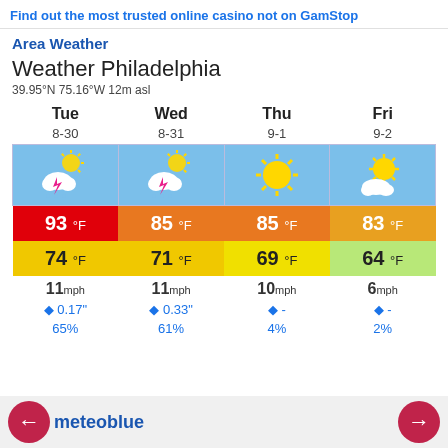Find out the most trusted online casino not on GamStop
Area Weather
Weather Philadelphia
39.95°N 75.16°W 12m asl
| Tue | Wed | Thu | Fri |
| --- | --- | --- | --- |
| 8-30 | 8-31 | 9-1 | 9-2 |
| [thunderstorm icon] | [thunderstorm icon] | [sun icon] | [partly cloudy icon] |
| 93 °F | 85 °F | 85 °F | 83 °F |
| 74 °F | 71 °F | 69 °F | 64 °F |
| 11 mph | 11 mph | 10 mph | 6 mph |
| 💧 0.17" | 💧 0.33" | 💧 - | 💧 - |
| 65% | 61% | 4% | 2% |
meteoblue